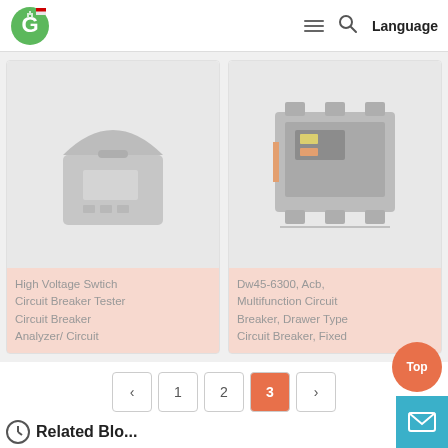Logo | Menu | Search | Language
[Figure (photo): High Voltage Switch Circuit Breaker Tester device in an open carry case with digital display and keypad]
High Voltage Swtich Circuit Breaker Tester Circuit Breaker Analyzer/ Circuit
[Figure (photo): Dw45-6300 ACB Multifunction Circuit Breaker, Drawer Type or Fixed, large industrial air circuit breaker unit]
Dw45-6300, Acb, Multifunction Circuit Breaker, Drawer Type Circuit Breaker, Fixed
‹  1  2  3  ›  (pagination, page 3 active)
Top
Related Blo...